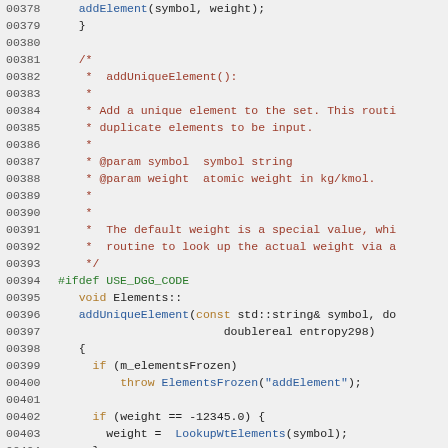[Figure (screenshot): Source code listing showing C++ code lines 00378–00407 with syntax highlighting. Comments in dark red, keywords in orange/brown, function names in blue, preprocessor in green.]